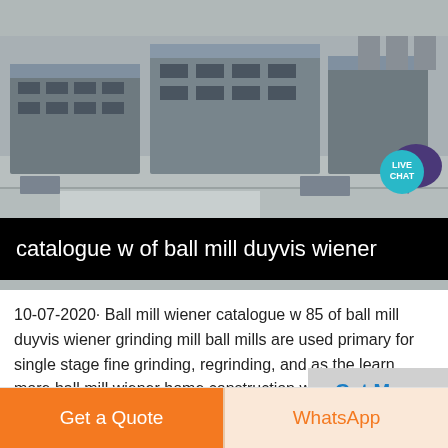[Figure (photo): Aerial view of an industrial facility with grey metal buildings, concrete lots, and equipment, taken from above.]
catalogue w of ball mill duyvis wiener
10-07-2020· Ball mill wiener catalogue w 85 of ball mill duyvis wiener grinding mill ball mills are used primary for single stage fine grinding, regrinding, and as the learn more ball mill wiener home construction waste crusher mineral type lead-zinc su Ballmill caotech bv manufacturer of ballmill